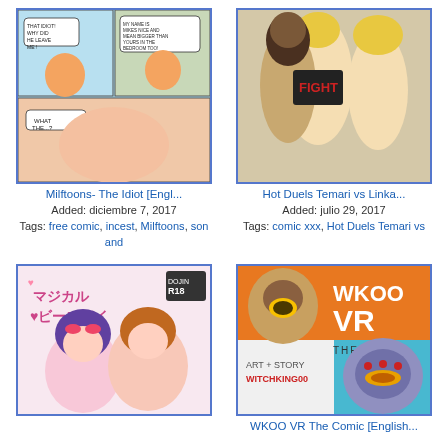[Figure (illustration): Comic thumbnail: Milftoons- The Idiot, cartoon style with characters in kitchen/bathroom scenes]
Milftoons- The Idiot [Engl...
Added: diciembre 7, 2017
Tags: free comic, incest, Milftoons, son and
[Figure (illustration): Comic thumbnail: Hot Duels Temari vs Linka, anime/comic style fight scene illustration]
Hot Duels Temari vs Linka...
Added: julio 29, 2017
Tags: comic xxx, Hot Duels Temari vs
[Figure (illustration): Comic thumbnail: anime style cover with two girls, Japanese text, R18 rating label]
[Figure (illustration): Comic thumbnail: WKOO VR The Comic, Witchking00 art with superhero characters, orange and teal color scheme]
WKOO VR The Comic [English...